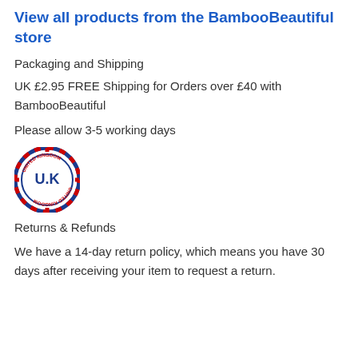View all products from the BambooBeautiful store
Packaging and Shipping
UK £2.95 FREE Shipping for Orders over £40 with BambooBeautiful
Please allow 3-5 working days
[Figure (logo): UK United Kingdom circular badge/stamp logo with red, white and blue colors]
Returns & Refunds
We have a 14-day return policy, which means you have 30 days after receiving your item to request a return.